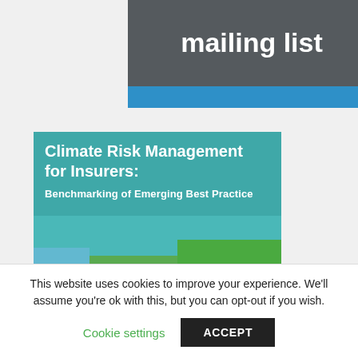[Figure (screenshot): Top banner with dark grey background showing 'mailing list' text in white bold, and a blue strip below it]
[Figure (screenshot): Climate Risk Management for Insurers card with teal background showing title text and a photo of coastal/forest landscape with 'CLICK TO' text overlay]
This website uses cookies to improve your experience. We'll assume you're ok with this, but you can opt-out if you wish.
Cookie settings
ACCEPT